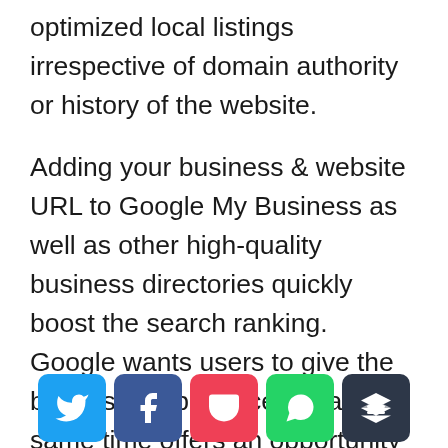optimized local listings irrespective of domain authority or history of the website.
Adding your business & website URL to Google My Business as well as other high-quality business directories quickly boost the search ranking. Google wants users to give the best user experience but at the same time offers an opportunity to small businesses with limited resources to succeed online.
[Figure (other): Social sharing buttons: Twitter (blue), Facebook (dark blue), Pocket (red), WhatsApp (green), Buffer (dark gray)]